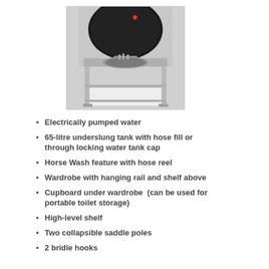[Figure (photo): A stainless steel sink mounted on a metal frame stand, with a large black lid open revealing the circular sink basin below. The unit appears to be a portable outdoor wash station.]
Electrically pumped water
65-litre underslung tank with hose fill or through locking water tank cap
Horse Wash feature with hose reel
Wardrobe with hanging rail and shelf above
Cupboard under wardrobe  (can be used for portable toilet storage)
High-level shelf
Two collapsible saddle poles
2 bridle hooks